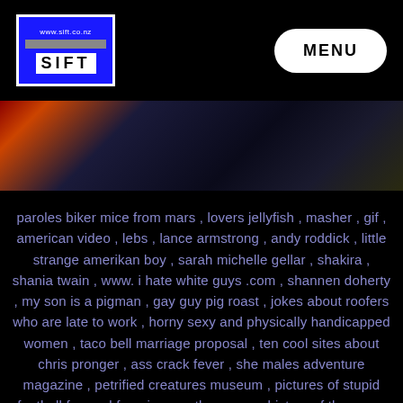www.sift.co.nz SIFT | MENU
[Figure (photo): Dark photo strip showing partial figures with red, orange and dark tones]
paroles biker mice from mars , lovers jellyfish , masher , gif , american video , lebs , lance armstrong , andy roddick , little strange amerikan boy , sarah michelle gellar , shakira , shania twain , www. i hate white guys .com , shannen doherty , my son is a pigman , gay guy pig roast , jokes about roofers who are late to work , horny sexy and physically handicapped women , taco bell marriage proposal , ten cool sites about chris pronger , ass crack fever , she males adventure magazine , petrified creatures museum , pictures of stupid football fan and freezing weather , www. history of the moon .com , bp gas station pictures while waiting for someone far away